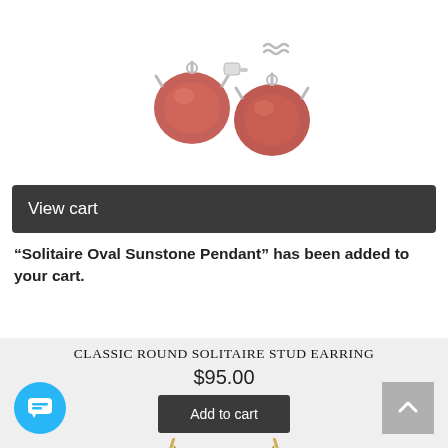[Figure (photo): Two red/pink gemstone round stud earrings with silver prong settings on white background]
View cart
“Solitaire Oval Sunstone Pendant” has been added to your cart.
Classic Round Solitaire Stud Earring
$95.00
Add to cart
[Figure (photo): Gold necklace pendant on a chain, partially visible at bottom of page]